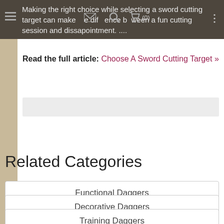Making the right choice while selecting a sword cutting target can make the difference between a fun cutting session and dissapointment. ....
Read the full article: Choose A Sword Cutting Target »
[Figure (other): Gray placeholder bar]
Related Categories
Functional Daggers
Decorative Daggers
Training Daggers